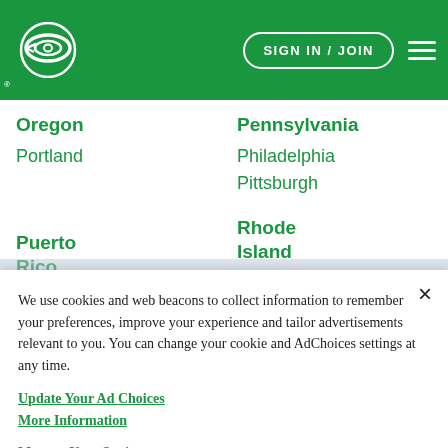SIGN IN / JOIN
Oregon
Portland
Pennsylvania
Philadelphia
Pittsburgh
Puerto Rico
Rhode Island
We use cookies and web beacons to collect information to remember your preferences, improve your experience and tailor advertisements relevant to you. You can change your cookie and AdChoices settings at any time.
Update Your Ad Choices
More Information
Manage Your Settings